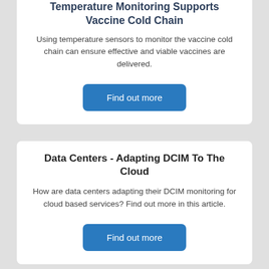Temperature Monitoring Supports Vaccine Cold Chain
Using temperature sensors to monitor the vaccine cold chain can ensure effective and viable vaccines are delivered.
Find out more
Data Centers - Adapting DCIM To The Cloud
How are data centers adapting their DCIM monitoring for cloud based services? Find out more in this article.
Find out more